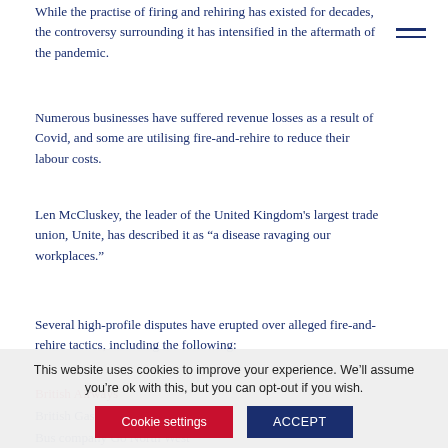While the practise of firing and rehiring has existed for decades, the controversy surrounding it has intensified in the aftermath of the pandemic.
Numerous businesses have suffered revenue losses as a result of Covid, and some are utilising fire-and-rehire to reduce their labour costs.
Len McCluskey, the leader of the United Kingdom's largest trade union, Unite, has described it as "a disease ravaging our workplaces."
Several high-profile disputes have erupted over alleged fire-and-rehire tactics, including the following:
British Airways
British Gas
Bus company Go North West
Coffee maker Jacobs Douwe Egberts
This website uses cookies to improve your experience. We'll assume you're ok with this, but you can opt-out if you wish.